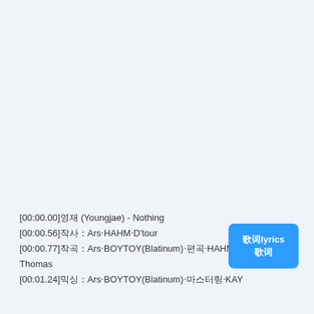[00:00.00]영재 (Youngjae) - Nothing
[00:00.56]작사：Ars‧HAHM‧D'tour
[00:00.77]작곡：Ars‧BOYTOY(Blatinum)‧편곡‧HAHM‧KAY‧John Thomas
[00:01.24]믹싱：Ars‧BOYTOY(Blatinum)‧마스터링‧KAY
[Figure (other): Blue button with white text showing lyrics symbol]